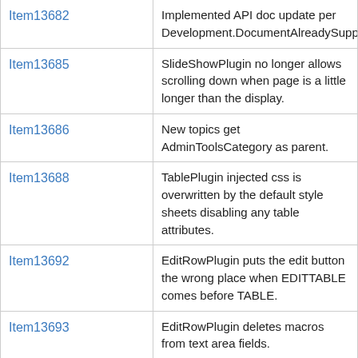| Item | Description |
| --- | --- |
| Item13682 | Implemented API doc update per Development.DocumentAlreadySupportedFuncQuery |
| Item13685 | SlideShowPlugin no longer allows scrolling down when page is a little longer than the display. |
| Item13686 | New topics get AdminToolsCategory as parent. |
| Item13688 | TablePlugin injected css is overwritten by the default style sheets disabling any table attributes. |
| Item13692 | EditRowPlugin puts the edit button the wrong place when EDITTABLE comes before TABLE. |
| Item13693 | EditRowPlugin deletes macros from text area fields. |
| Item13696 | Some attachments can be unreachable with non-UTF encoding. |
| Item13697 | With iso-8859-1 store, it's possible to create unreachable topics and attachments. |
| Item13698 | Unable to move attachments if target topic is not a Wi |
| Item13707 | PatternSkin themes are not working. |
| Item13710 | JQueryPlugin (6.13) version of jquery.foswiki is fails in |